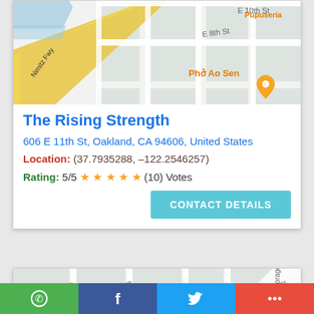[Figure (map): Google Maps view showing Nimitz Fwy, E 8th St, E 10th St area in Oakland with Phở Ao Sen restaurant marker and Pupuseria label]
The Rising Strength
606 E 11th St, Oakland, CA 94606, United States
Location: (37.7935288, –122.2546257)
Rating: 5/5 ★★★★★ (10) Votes
CONTACT DETAILS
[Figure (map): Google Maps view showing Ridgeway Ave, Emera area in Oakland with Fentons Creamery marker and Morage label]